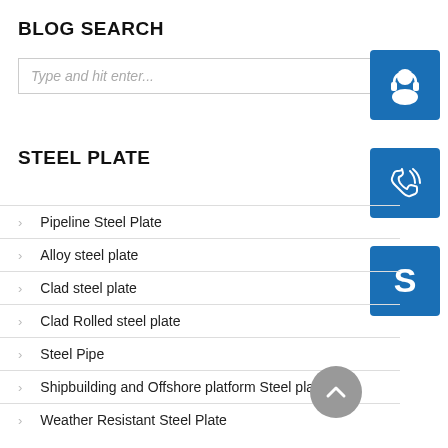BLOG SEARCH
Type and hit enter...
[Figure (illustration): Blue square button with white customer support headset icon]
[Figure (illustration): Blue square button with white phone/call icon]
[Figure (illustration): Blue square button with white Skype icon (S)]
STEEL PLATE
Pipeline Steel Plate
Alloy steel plate
Clad steel plate
Clad Rolled steel plate
Steel Pipe
Shipbuilding and Offshore platform Steel plate
Weather Resistant Steel Plate
[Figure (illustration): Gray circular scroll-to-top button with white upward chevron arrow]